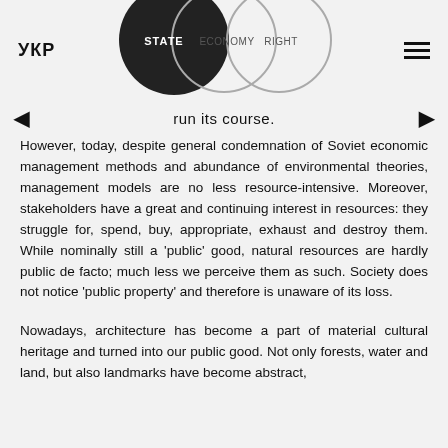УКР | STATE | ECONOMY | RIGHT
run its course.
However, today, despite general condemnation of Soviet economic management methods and abundance of environmental theories, management models are no less resource-intensive. Moreover, stakeholders have a great and continuing interest in resources: they struggle for, spend, buy, appropriate, exhaust and destroy them. While nominally still a 'public' good, natural resources are hardly public de facto; much less we perceive them as such. Society does not notice 'public property' and therefore is unaware of its loss.
Nowadays, architecture has become a part of material cultural heritage and turned into our public good. Not only forests, water and land, but also landmarks have become abstract,